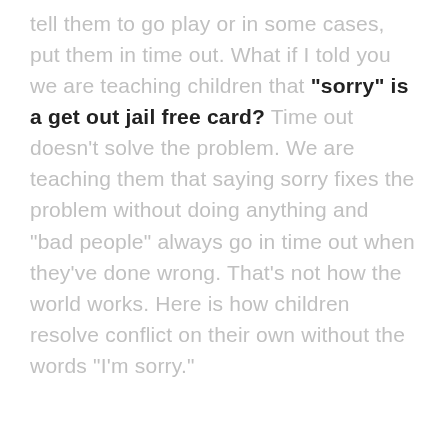tell them to go play or in some cases, put them in time out. What if I told you we are teaching children that "sorry" is a get out jail free card? Time out doesn't solve the problem. We are teaching them that saying sorry fixes the problem without doing anything and "bad people" always go in time out when they've done wrong. That's not how the world works. Here is how children resolve conflict on their own without the words "I'm sorry."